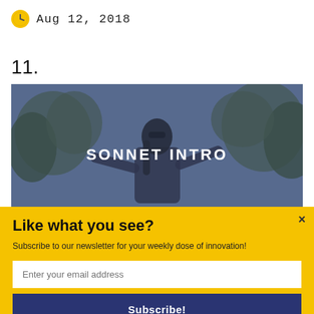Aug 12, 2018
11.
[Figure (photo): Video thumbnail showing a person with long hair and sunglasses in a natural outdoor setting with trees, with the text 'SONNET INTRO' overlaid in white capital letters]
Like what you see?
Subscribe to our newsletter for your weekly dose of innovation!
Enter your email address
Subscribe!